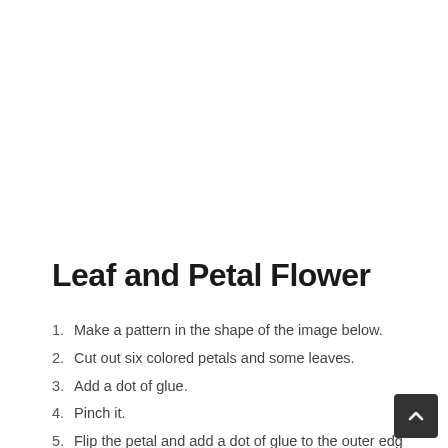Leaf and Petal Flower
1. Make a pattern in the shape of the image below.
2. Cut out six colored petals and some leaves.
3. Add a dot of glue.
4. Pinch it.
5. Flip the petal and add a dot of glue to the outer edge.
6. Pinch it. Do this to six petals.